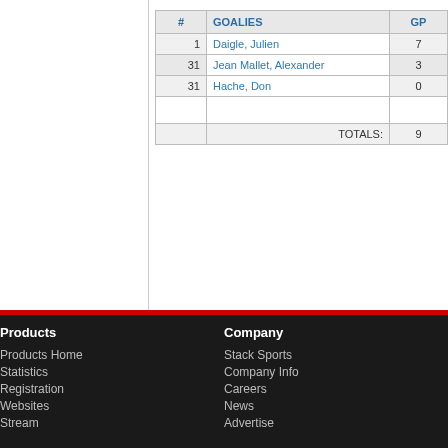| # | GOALIES | GP |
| --- | --- | --- |
| 1 | Daigle, Julien | 7 |
| 31 | Jean Mallet, Alexander | 3 |
| 31 | Hache, Don | 0 |
|  | TOTALS: | 9 |
Products
Products Home
Statistics
Registration
Websites
Stream
Company
Stack Sports
Company Info
Careers
News
Advertise